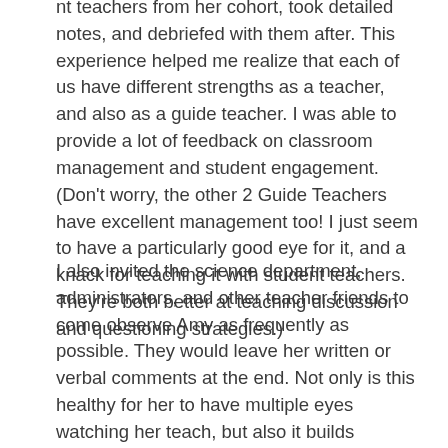nt teachers from her cohort, took detailed notes, and debriefed with them after. This experience helped me realize that each of us have different strengths as a teacher, and also as a guide teacher. I was able to provide a lot of feedback on classroom management and student engagement. (Don't worry, the other 2 Guide Teachers have excellent management too! I just seem to have a particularly good eye for it, and a knack for teaching it with student teachers. They're both better at teaching discussion and questioning strategies.)
I also invited the science department, administrators, and other teacher friends to come observe Amy as frequently as possible. They would leave her written or verbal comments at the end. Not only is this healthy for her to have multiple eyes watching her teach, but also it builds comfortability with having people walk in at any point during a lesson.